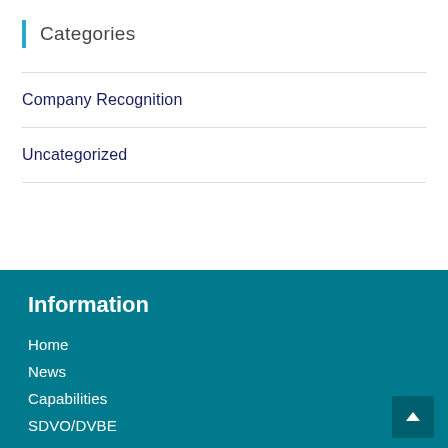Categories
Company Recognition
Uncategorized
Information
Home
News
Capabilities
SDVO/DVBE